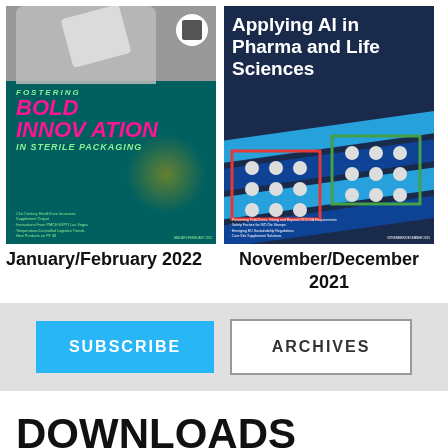[Figure (illustration): Magazine cover: Fostering Bold Innovation in Sterile Packaging, January/February 2022, teal background with hand holding packet]
January/February 2022
[Figure (illustration): Magazine cover: Applying AI in Pharma and Life Sciences, November/December 2021, blue background with pill blisters]
November/December 2021
SUBSCRIBE
ARCHIVES
DOWNLOADS